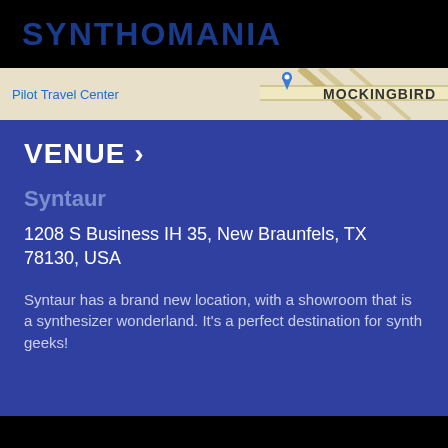SYNTHOMANIA
[Figure (map): Map strip showing Pilot Travel Center label on left, MOCKINGBIRD label on right, with road map background]
VENUE >
Syntaur
1208 S Business IH 35, New Braunfels, TX 78130, USA
Syntaur has a brand new location, with a showroom that is a synthesizer wonderland. It's a perfect destination for synth geeks!